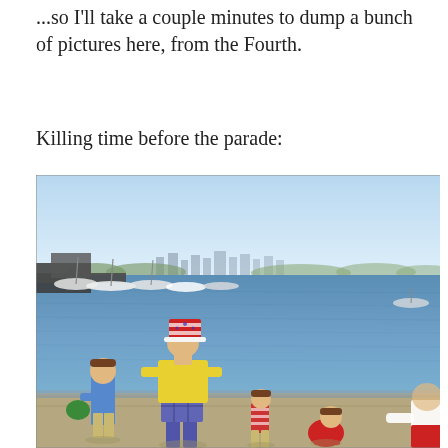...so I'll take a couple minutes to dump a bunch of pictures here, from the Fourth.
Killing time before the parade:
[Figure (photo): People standing at the shoreline of a lake or bay on a sunny day. A man in a yellow shirt and plaid shorts wearing a patriotic top hat stands with several children at the water's edge. Boats and a marina are visible in the background, with a city skyline in the far distance.]